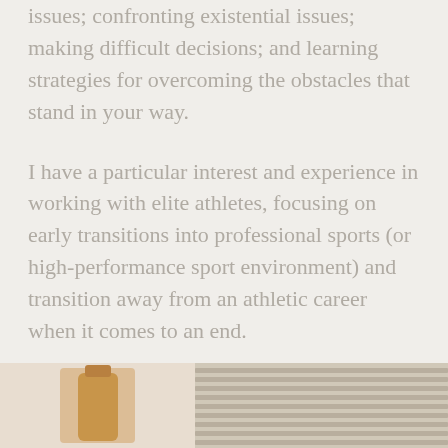issues; confronting existential issues; making difficult decisions; and learning strategies for overcoming the obstacles that stand in your way.
I have a particular interest and experience in working with elite athletes, focusing on early transitions into professional sports (or high-performance sport environment) and transition away from an athletic career when it comes to an end.
[Figure (photo): A partial interior photo showing a warm-toned vase or decorative object on the left panel, and window blinds or slatted shutters on the right panel, cropped at the bottom of the page.]